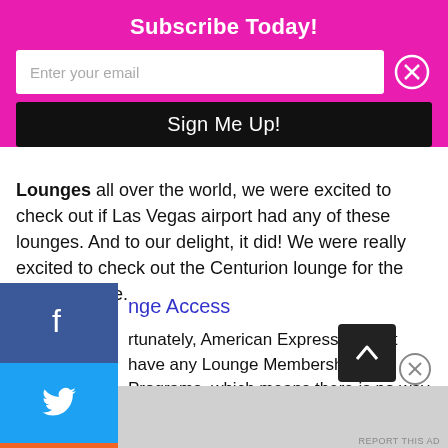Subscribe Today!
Enter your email
Sign Me Up!
Lounges all over the world, we were excited to check out if Las Vegas airport had any of these lounges. And to our delight, it did! We were really excited to check out the Centurion lounge for the very first time.
Lounge Access
Unfortunately, American Express doesn't have any Lounge Membership Programs, which means there is no way to purchase membership to access their lounges. neither do they have an
Advertisements